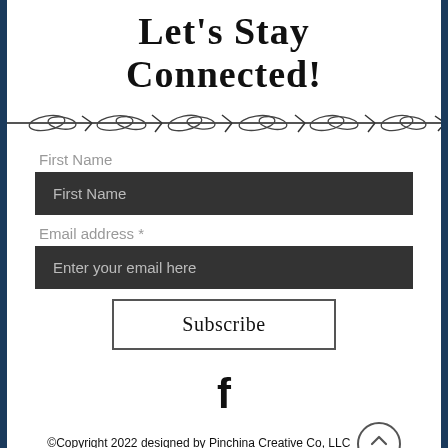Let's Stay Connected!
[Figure (illustration): Barbed wire horizontal divider illustration]
First Name
First Name (input field placeholder)
Email address *
Enter your email here (input field placeholder)
Subscribe (button)
[Figure (logo): Facebook 'f' logo icon]
©Copyright 2022 designed by Pinchina Creative Co, LLC
Privacy Policy